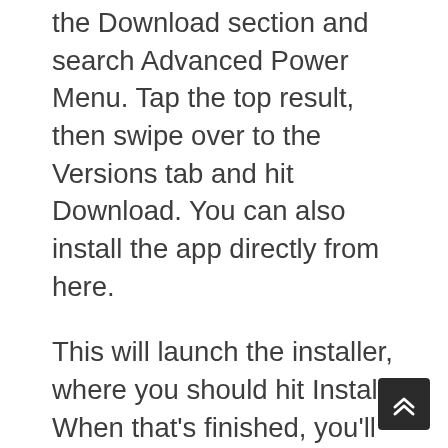the Download section and search Advanced Power Menu. Tap the top result, then swipe over to the Versions tab and hit Download. You can also install the app directly from here.
This will launch the installer, where you should hit Install. When that’s finished, you’ll see a new notification. Tap the Activate and reboot button here.
STEP 4: CONFIGURE ADVANCED POWER MENU
Once you’re back up, open the newly-installed Advanced Power Menu app. Right up top are the options we’re concerned with today. This is for…